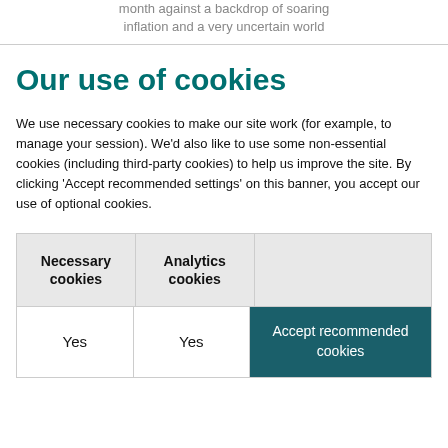month against a backdrop of soaring inflation and a very uncertain world
Our use of cookies
We use necessary cookies to make our site work (for example, to manage your session). We'd also like to use some non-essential cookies (including third-party cookies) to help us improve the site. By clicking 'Accept recommended settings' on this banner, you accept our use of optional cookies.
| Necessary cookies | Analytics cookies |  |
| --- | --- | --- |
| Yes | Yes | Accept recommended cookies |